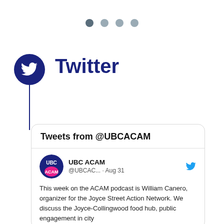[Figure (other): Four navigation dots at top, first dot darker indicating active state]
Twitter
[Figure (screenshot): Tweet card showing Tweets from @UBCACAM with a tweet by UBC ACAM @UBCAC... on Aug 31 reading: This week on the ACAM podcast is William Canero, organizer for the Joyce Street Action Network. We discuss the Joyce-Collingwood food hub, public engagement in city]